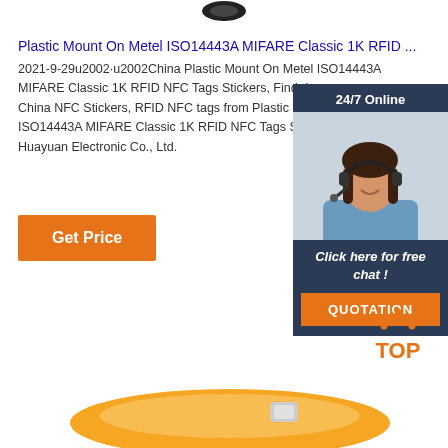[Figure (illustration): Black RFID tag partially visible at top of page]
Plastic Mount On Metel ISO14443A MIFARE Classic 1K RFID ...
2021-9-29u2002·u2002China Plastic Mount On Metel ISO14443A MIFARE Classic 1K RFID NFC Tags Stickers, Find details about China NFC Stickers, RFID NFC tags from Plastic Mount On Metel ISO14443A MIFARE Classic 1K RFID NFC Tags Sti... - Huayuan Electronic Co., Ltd.
[Figure (illustration): 24/7 Online chat widget with photo of female customer service agent wearing headset, dark blue background, 'Click here for free chat!' text and orange QUOTATION button]
[Figure (illustration): Orange/red TOP button with dot pattern above it in orange]
[Figure (illustration): Orange wristband RFID tag product partially visible at bottom of page]